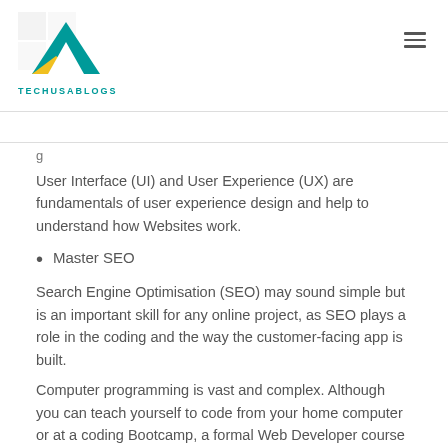TECHUSABLOGS
User Interface (UI) and User Experience (UX) are fundamentals of user experience design and help to understand how Websites work.
Master SEO
Search Engine Optimisation (SEO) may sound simple but is an important skill for any online project, as SEO plays a role in the coding and the way the customer-facing app is built.
Computer programming is vast and complex. Although you can teach yourself to code from your home computer or at a coding Bootcamp, a formal Web Developer course adds-on to your professional-level programming for a lucrative